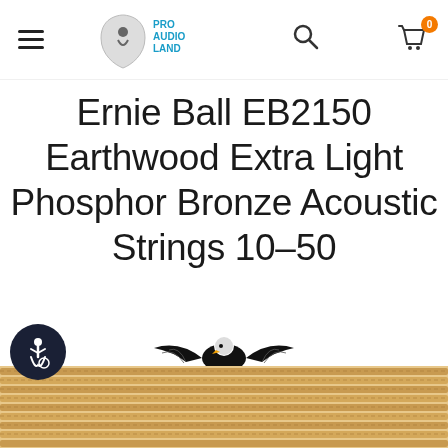Pro Audio Land — navigation header with hamburger menu, search icon, and cart (0 items)
Ernie Ball EB2150 Earthwood Extra Light Phosphor Bronze Acoustic Strings 10-50
[Figure (logo): Ernie Ball logo with eagle graphic above stylized text reading ERNIE BALL]
[Figure (photo): Product photo showing multiple phosphor bronze acoustic guitar strings stacked horizontally at the bottom of the page]